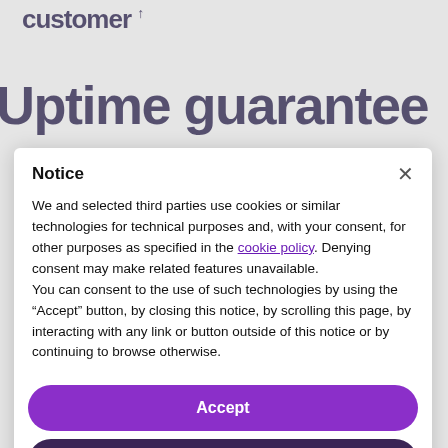customer
Uptime guarantee
Notice
We and selected third parties use cookies or similar technologies for technical purposes and, with your consent, for other purposes as specified in the cookie policy. Denying consent may make related features unavailable.
You can consent to the use of such technologies by using the “Accept” button, by closing this notice, by scrolling this page, by interacting with any link or button outside of this notice or by continuing to browse otherwise.
Accept
Learn more and customize